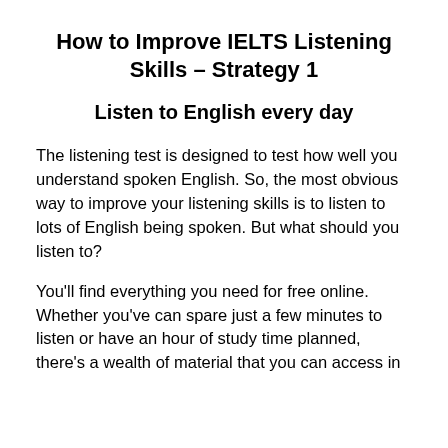How to Improve IELTS Listening Skills – Strategy 1
Listen to English every day
The listening test is designed to test how well you understand spoken English. So, the most obvious way to improve your listening skills is to listen to lots of English being spoken. But what should you listen to?
You'll find everything you need for free online. Whether you've can spare just a few minutes to listen or have an hour of study time planned, there's a wealth of material that you can access in